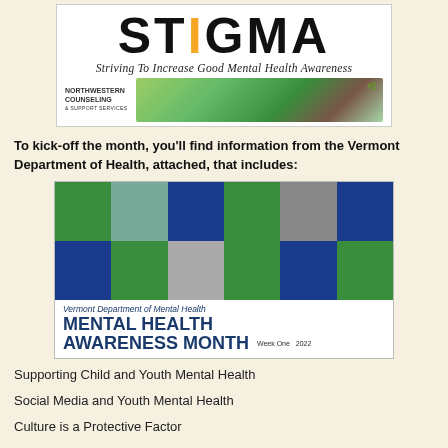[Figure (logo): STIGMA logo with text 'Striving To Increase Good Mental Health Awareness' and Northwestern Counseling & Support Services branding with nature imagery]
To kick-off the month, you'll find information from the Vermont Department of Health, attached, that includes:
[Figure (illustration): Vermont Department of Mental Health Mental Health Awareness Month Week One 2022 banner with photo collage of children and adults in green and blue checkered layout]
Supporting Child and Youth Mental Health
Social Media and Youth Mental Health
Culture is a Protective Factor